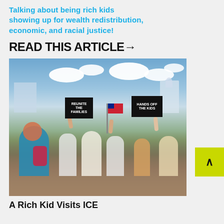Talking about being rich kids showing up for wealth redistribution, economic, and racial justice!
READ THIS ARTICLE→
[Figure (photo): Outdoor protest scene showing crowd of people with raised hands, holding signs including 'REUNITE THE FAMILIES' and 'HANDS OFF THE KIDS', with an American flag, cloudy sky, and city buildings in background.]
A Rich Kid Visits ICE